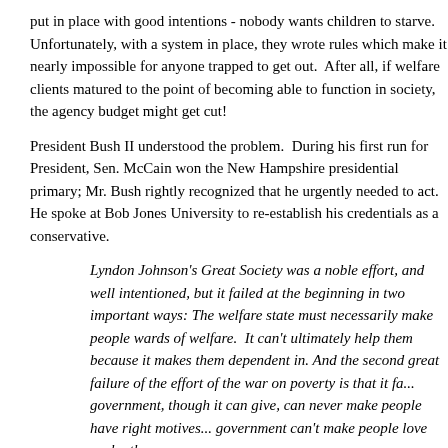put in place with good intentions - nobody wants children to starve.  Unfortunately, with a system in place, they wrote rules which make it nearly impossible for anyone trapped to get out.  After all, if welfare clients matured to the point of becoming able to function in society, the agency budget might get cut!
President Bush II understood the problem.  During his first run for President, Sen. McCain won the New Hampshire presidential primary; Mr. Bush rightly recognized that he urgently needed to act. He spoke at Bob Jones University to re-establish his credentials as a conservative.
Lyndon Johnson's Great Society was a noble effort, and well intentioned, but it failed at the beginning in two important ways: The welfare state must necessarily make people wards of welfare.  It can't ultimately help them because it makes them dependent in. And the second great failure of the effort of the war on poverty is that it fa... government, though it can give, can never make people have right motives... government can't make people love each other.
[Quote based on notes taken by guests in the audience.  No public trans...
Mr. Bush recognized that the welfare system locks generation after generation into dependence on government.